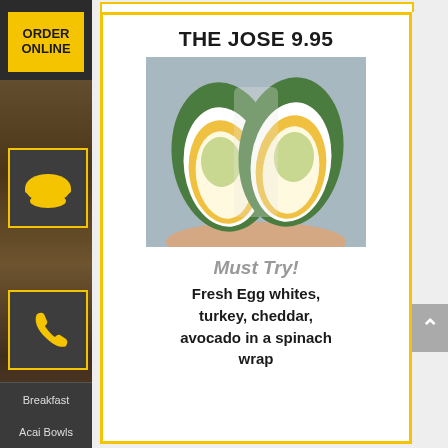[Figure (screenshot): Restaurant website sidebar with ORDER ONLINE button, cloche icon, phone icon, and navigation menu items: Breakfast, Acai Bowls, Appetizers, Sandwiches, Salads]
THE JOSE 9.95
[Figure (photo): Cross-section of a spinach wrap cut in half showing egg whites, turkey, cheddar cheese, and avocado filling held in a hand]
Must Try!
Fresh Egg whites, turkey, cheddar, avocado in a spinach wrap